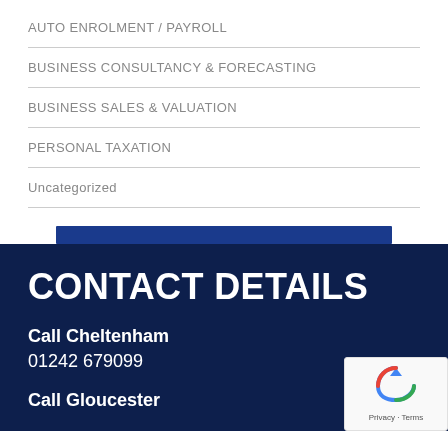AUTO ENROLMENT / PAYROLL
BUSINESS CONSULTANCY & FORECASTING
BUSINESS SALES & VALUATION
PERSONAL TAXATION
Uncategorized
CONTACT DETAILS
Call Cheltenham
01242 679099
Call Gloucester